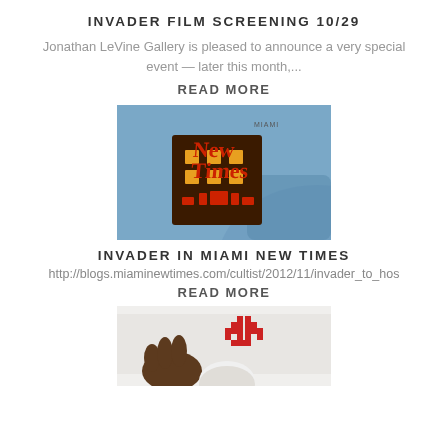INVADER FILM SCREENING 10/29
Jonathan LeVine Gallery is pleased to announce a very special event — later this month,...
READ MORE
[Figure (photo): Miami New Times logo with space invader pixel art figure against Earth from space background]
INVADER IN MIAMI NEW TIMES
http://blogs.miaminewtimes.com/cultist/2012/11/invader_to_hos
READ MORE
[Figure (photo): Person holding up space invader pixel art tile, partially visible at bottom of page]